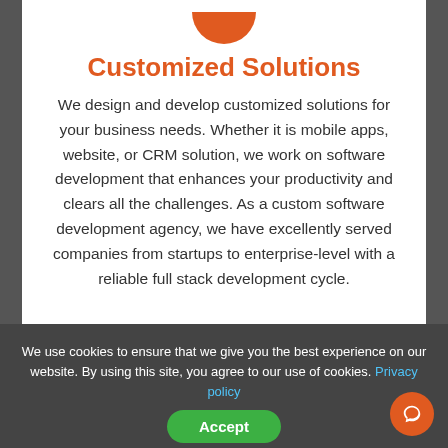[Figure (illustration): Orange semicircle/rounded icon at top of white card]
Customized Solutions
We design and develop customized solutions for your business needs. Whether it is mobile apps, website, or CRM solution, we work on software development that enhances your productivity and clears all the challenges. As a custom software development agency, we have excellently served companies from startups to enterprise-level with a reliable full stack development cycle.
We use cookies to ensure that we give you the best experience on our website. By using this site, you agree to our use of cookies. Privacy policy  Accept